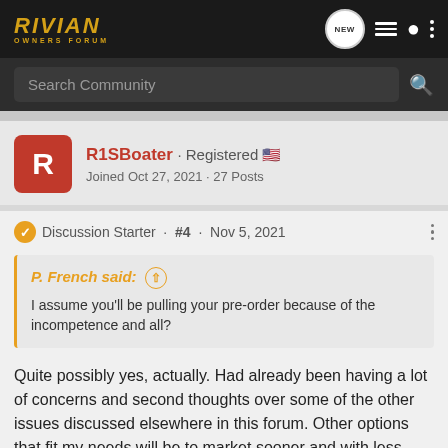RIVIAN OWNERS FORUM
Search Community
R1SBoater · Registered
Joined Oct 27, 2021 · 27 Posts
Discussion Starter · #4 · Nov 5, 2021
P. French said: I assume you'll be pulling your pre-order because of the incompetence and all?
Quite possibly yes, actually. Had already been having a lot of concerns and second thoughts over some of the other issues discussed elsewhere in this forum. Other options that fit my needs will be to market sooner and with less risk. Plus I have zero tolerance for this type of discrimination from a company that bills itself on values. If you talk the talk, you gotta walk